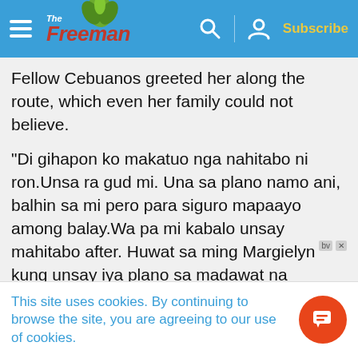The Freeman — Subscribe
Fellow Cebuanos greeted her along the route, which even her family could not believe.
"Di gihapon ko makatuo nga nahitabo ni ron.Unsa ra gud mi. Una sa plano namo ani, balhin sa mi pero para siguro mapaayo among balay.Wa pa mi kabalo unsay mahitabo after. Huwat sa ming Margielyn kung unsay iya plano sa madawat na kwarta," said Didal's father Lito.
In incentives alone, Didal stands to receive close
This site uses cookies. By continuing to browse the site, you are agreeing to our use of cookies.